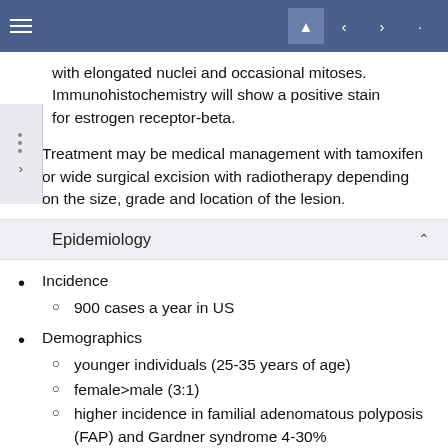with elongated nuclei and occasional mitoses. Immunohistochemistry will show a positive stain for estrogen receptor-beta.
Treatment may be medical management with tamoxifen or wide surgical excision with radiotherapy depending on the size, grade and location of the lesion.
Epidemiology
Incidence
900 cases a year in US
Demographics
younger individuals (25-35 years of age)
female>male (3:1)
higher incidence in familial adenomatous polyposis (FAP) and Gardner syndrome 4-30%